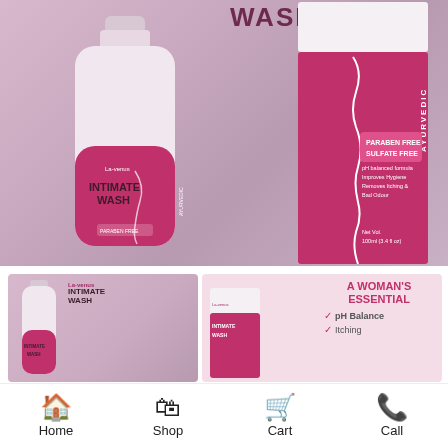[Figure (photo): Product photo of an intimate wash bottle and box. The bottle is white with a pink/magenta label reading 'INTIMATE WASH' with Ayurvedic branding and a woman's silhouette. The box is pink/magenta with text 'AYURVEDIC HYGIENE WASH', 'PARABEN FREE', 'SULFATE FREE', benefits listed, and 'Net Vol. 100ml (3.4 fl oz)'. Background is lavender/mauve. The word 'WASH' appears at the top in dark pink letters.]
[Figure (photo): Two product thumbnails: left shows the bottle on a pink background with 'INTIMATE WASH' label; right shows the box on a light pink background with text 'A WOMAN'S ESSENTIAL' and checkmarks for 'pH Balance' and 'Itching'.]
Home
Shop
Cart
Call